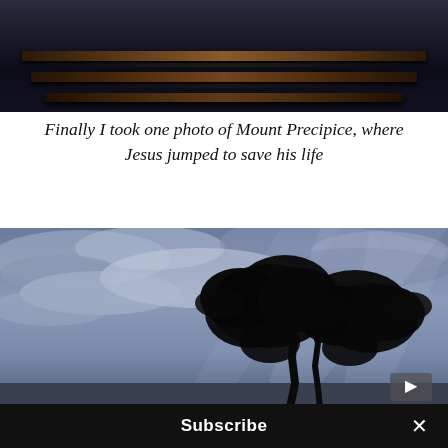[Figure (photo): Dark interior photo showing wooden church pews or stepped architectural elements, viewed from above in dim light]
Finally I took one photo of Mount Precipice, where Jesus jumped to save his life
[Figure (photo): Photo of a silhouetted tree against a dramatic cloudy sky with rays of light breaking through, Mount Precipice area]
Subscribe ×